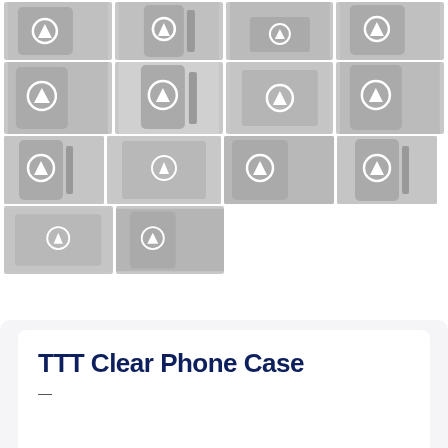[Figure (photo): Grid of product photos showing TTT Clear Phone Case from multiple angles - phones with bull logo on grey cases, flatlay shots on wooden surfaces, and side profile views. 4 rows of thumbnail images.]
TTT Clear Phone Case